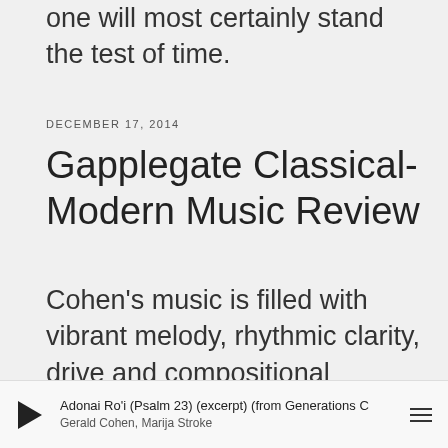one will most certainly stand the test of time.
DECEMBER 17, 2014
Gapplegate Classical-Modern Music Review
Cohen's music is filled with vibrant melody, rhythmic clarity, drive and compositional construction that show a mastery of and a real sympathy towards the clarinet...This is a sheer delight to hear, a chocolate-fudge sundae of
Adonai Ro'i (Psalm 23) (excerpt) (from Generations C
Gerald Cohen, Marija Stroke